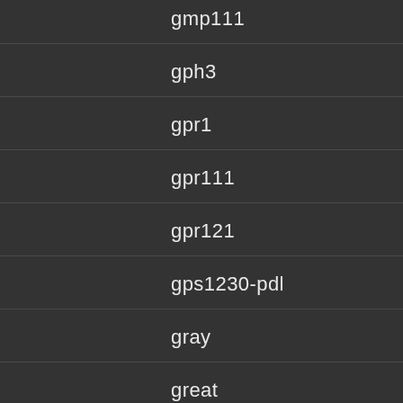gmp111
gph3
gpr1
gpr111
gpr121
gps1230-pdl
gray
great